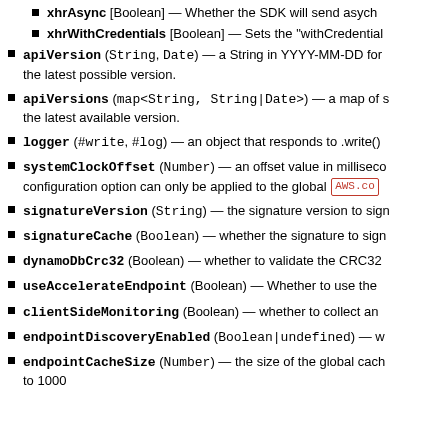xhrAsync [Boolean] — Whether the SDK will send asynchronous HTTP requests. Set to false to send synchronous requests. Defaults to true.
xhrWithCredentials [Boolean] — Sets the "withCredentials" property of an XHR object.
apiVersion (String, Date) — a String in YYYY-MM-DD format (or a Date) that represents the latest possible version.
apiVersions (map<String, String|Date>) — a map of service identifiers (the lowercase service class name) and target api versions. Not all services support versioning.
logger (#write, #log) — an object that responds to .write() or .log() calls.
systemClockOffset (Number) — an offset value in milliseconds to apply to all signing times. Use this to compensate for clock skew when your system may be out of sync with the service time. Note that this configuration option can only be applied to the global AWS.config object.
signatureVersion (String) — the signature version to sign requests with (overriding the API configuration). Possible values: 'v2'|'v3'|'v4'.
signatureCache (Boolean) — whether the signature to sign requests with (overriding the API configuration) is cached. Only applies when signing with signature version 'v4'. Defaults to true.
dynamoDbCrc32 (Boolean) — whether to validate the CRC32 checksum of HTTP response bodies returned by DynamoDB. Default: true.
useAccelerateEndpoint (Boolean) — Whether to use the S3 Transfer Acceleration endpoint with the S3 service.
clientSideMonitoring (Boolean) — whether to collect and publish this client's performance metrics of all its API requests.
endpointDiscoveryEnabled (Boolean|undefined) — whether to call operations on discovered endpoints.
endpointCacheSize (Number) — the size of the global cache storing endpoints from endpoint discovery operations. Once endpoint cache is created, updating this setting cannot change existing cache size. Defaults to 1000.